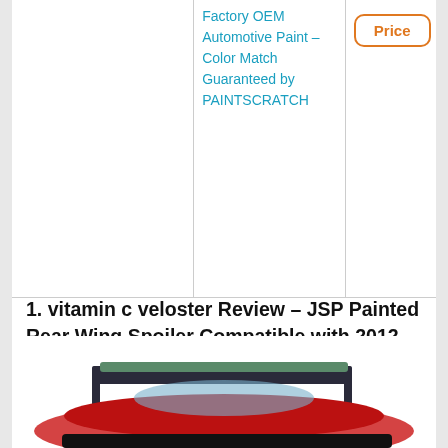|  |  |  |
| --- | --- | --- |
|  | Factory OEM Automotive Paint – Color Match Guaranteed by PAINTSCRATCH | Price |
1. vitamin c veloster Review – JSP Painted Rear Wing Spoiler Compatible with 2012-2016 Hyundai Veloster R9A Vitamin C Pearl Custom Style 333050
[Figure (logo): JSP brand logo in red and grey italic text]
[Figure (photo): Photo of a red car with a rear wing spoiler installed, showing the spoiler from behind]